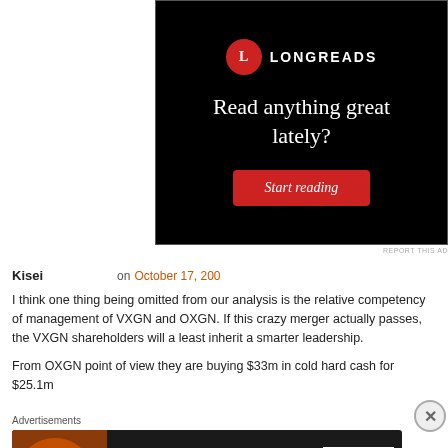[Figure (illustration): Longreads advertisement banner with black background. Shows the Longreads logo (red circle with 'L'), tagline 'Read anything great lately?' in white serif font, and a red 'Start reading' button.]
REPORT THIS AD
Kisei    on October 17, 200
I think one thing being omitted from our analysis is the relative competency of management of VXGN and OXGN. If this crazy merger actually passes, the VXGN shareholders will a least inherit a smarter leadership.
From OXGN point of view they are buying $33m in cold hard cash for $25.1m
Advertisements
[Figure (illustration): Seamless food delivery advertisement. Shows pizza image on left, Seamless red logo badge in center, and 'ORDER NOW' box on right, all on dark background.]